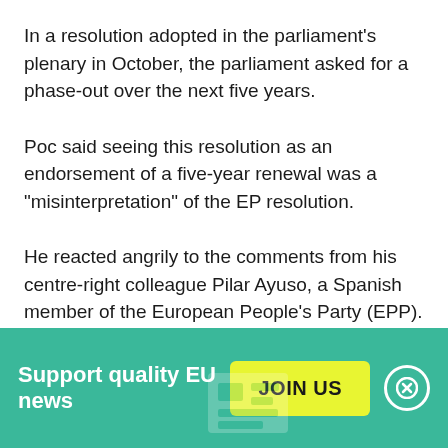In a resolution adopted in the parliament's plenary in October, the parliament asked for a phase-out over the next five years.
Poc said seeing this resolution as an endorsement of a five-year renewal was a "misinterpretation" of the EP resolution.
He reacted angrily to the comments from his centre-right colleague Pilar Ayuso, a Spanish member of the European People's Party (EPP).
Ayuso had said that the renewal of glyphosate debate had been accompanied by "falsehoods", which she called
Support quality EU news  JOIN US